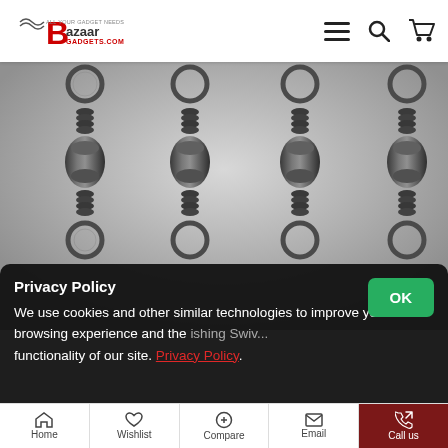[Figure (logo): Bazaar Gadgets logo with fish hook graphic and red B letter]
[Figure (photo): Four metal fishing barrel swivels with rings on both ends, close-up photo on gray background]
Privacy Policy
We use cookies and other similar technologies to improve your browsing experience and the functionality of our site. Privacy Policy.
Home   Wishlist   Compare   Email   Call us